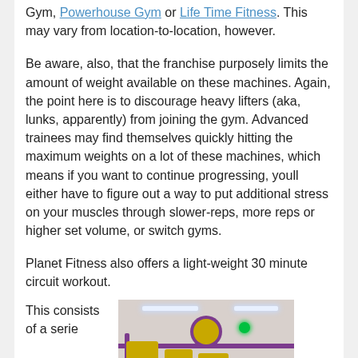Gym, Powerhouse Gym or Life Time Fitness. This may vary from location-to-location, however.
Be aware, also, that the franchise purposely limits the amount of weight available on these machines. Again, the point here is to discourage heavy lifters (aka, lunks, apparently) from joining the gym. Advanced trainees may find themselves quickly hitting the maximum weights on a lot of these machines, which means if you want to continue progressing, youll either have to figure out a way to put additional stress on your muscles through slower-reps, more reps or higher set volume, or switch gyms.
Planet Fitness also offers a light-weight 30 minute circuit workout.
This consists of a serie
[Figure (photo): Interior of a Planet Fitness gym showing yellow exercise machines against purple-accented walls, with a green traffic light signal and a circular logo on the wall.]